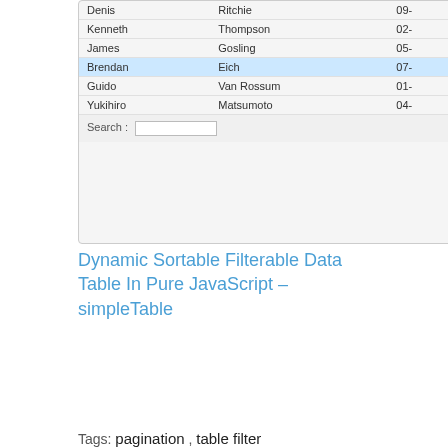[Figure (screenshot): Screenshot of a dynamic sortable filterable data table UI showing rows: Denis/Ritchie/09, Kenneth/Thompson/02, James/Gosling/05, Brendan/Eich/07 (highlighted in blue), Guido/Van Rossum/01, Yukihiro/Matsumoto/04, with a Search field below.]
Dynamic Sortable Filterable Data Table In Pure JavaScript – simpleTable
Tags: pagination , table filter
You Might Be Interested In: